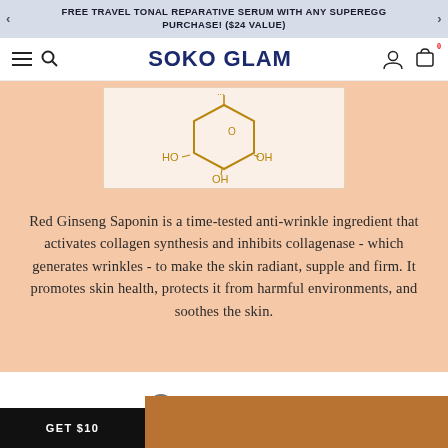FREE TRAVEL TONAL REPARATIVE SERUM WITH ANY SUPEREGG PURCHASE! ($24 VALUE)
SOKO GLAM
[Figure (illustration): Chemical structure diagram of a sugar molecule (glucose/galactose) showing ring structure with HO and OH groups labeled, drawn in golden/brown color on cream background]
Red Ginseng Saponin is a time-tested anti-wrinkle ingredient that activates collagen synthesis and inhibits collagenase - which generates wrinkles - to make the skin radiant, supple and firm. It promotes skin health, protects it from harmful environments, and soothes the skin.
GET $10